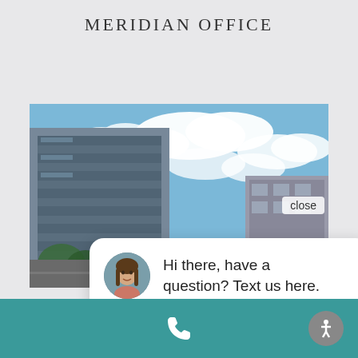MERIDIAN OFFICE
[Figure (photo): Exterior photo of a modern multi-story glass office building with blue sky and clouds in the background. A chat popup overlay reads: 'Hi there, have a question? Text us here.' with a female avatar. A 'close' button is visible in the upper right of the photo. A blue circular chat FAB button is partially visible at the bottom right.]
Hi there, have a question? Text us here.
[Figure (other): Teal bottom navigation bar with a white phone icon in the center and a gray circular accessibility icon on the right.]